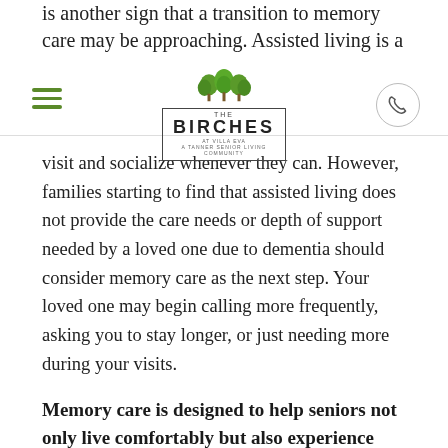is another sign that a transition to memory care may be approaching. Assisted living is a
[Figure (logo): The Birches senior living community logo with green trees above a bordered text box]
visit and socialize whenever they can. However, families starting to find that assisted living does not provide the care needs or depth of support needed by a loved one due to dementia should consider memory care as the next step. Your loved one may begin calling more frequently, asking you to stay longer, or just needing more during your visits.
Memory care is designed to help seniors not only live comfortably but also experience their